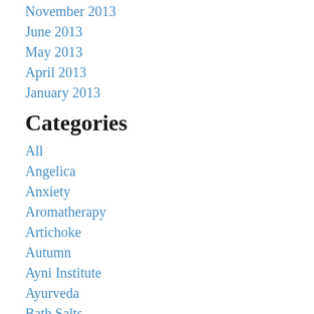November 2013
June 2013
May 2013
April 2013
January 2013
Categories
All
Angelica
Anxiety
Aromatherapy
Artichoke
Autumn
Ayni Institute
Ayurveda
Bath Salts
Becoming An Herbalist
Beltane
Bitters
Black Cohosh
Blue Vervain